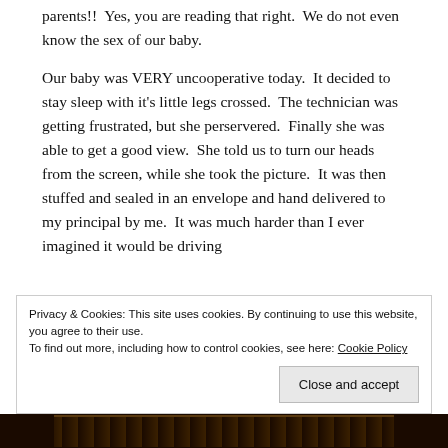parents!!  Yes, you are reading that right.  We do not even know the sex of our baby.
Our baby was VERY uncooperative today.  It decided to stay sleep with it's little legs crossed.  The technician was getting frustrated, but she perservered.  Finally she was able to get a good view.  She told us to turn our heads from the screen, while she took the picture.  It was then stuffed and sealed in an envelope and hand delivered to my principal by me.  It was much harder than I ever imagined it would be driving
Privacy & Cookies: This site uses cookies. By continuing to use this website, you agree to their use.
To find out more, including how to control cookies, see here: Cookie Policy
Close and accept